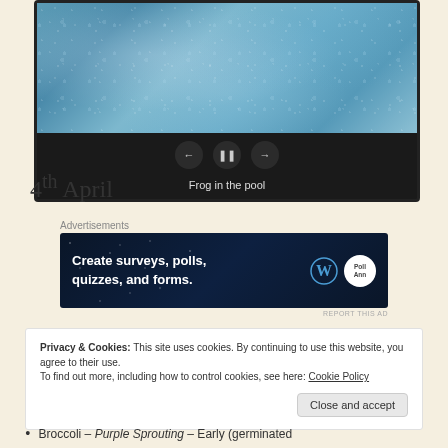[Figure (screenshot): Media player / slideshow widget showing a blue pool water image with navigation controls (back, pause, forward) and caption 'Frog in the pool']
Frog in the pool
4th April
Advertisements
[Figure (other): Advertisement banner: 'Create surveys, polls, quizzes, and forms.' with WordPress and Crowdsignal logos on dark blue background]
REPORT THIS AD
Privacy & Cookies: This site uses cookies. By continuing to use this website, you agree to their use.
To find out more, including how to control cookies, see here: Cookie Policy

Close and accept
Broccoli – Purple Sprouting – Early (germinated